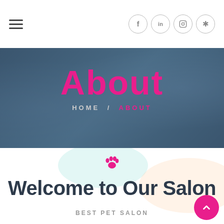[Figure (screenshot): Website navigation bar with hamburger menu on left and social media icons (Facebook, LinkedIn, Instagram, Yelp) on right]
About
HOME / ABOUT
[Figure (illustration): Pink paw print icon]
Welcome to Our Salon
BEST PET SALON